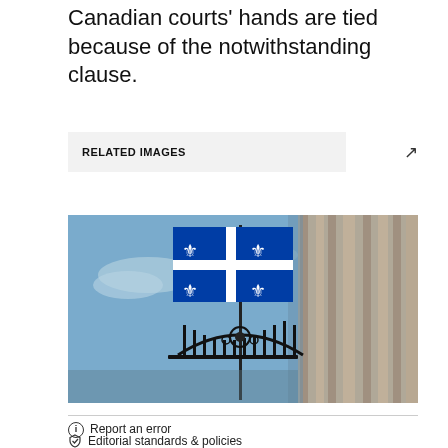Canadian courts' hands are tied because of the notwithstanding clause.
RELATED IMAGES
[Figure (photo): Quebec flag flying on a flagpole above ornate iron gates, with a stone building visible on the right side. Blue sky with light clouds in the background.]
Report an error
Editorial standards & policies
Why you can trust CTV News